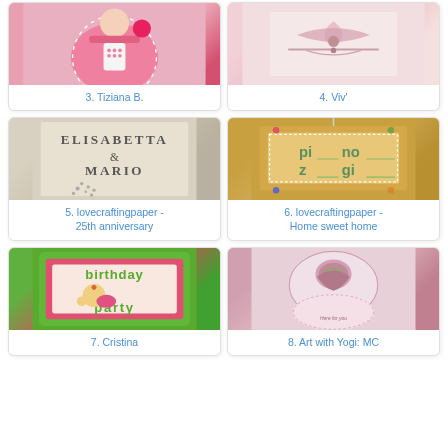[Figure (photo): Craft card with girl in pink polka dot dress]
3. Tiziana B.
[Figure (photo): Pink craft card with bow and ribbon]
4. Viv'
[Figure (photo): White card with ELISABETTA & MARIO text and rhinestones]
5. lovecraftingpaper - 25th anniversary
[Figure (photo): Brown decorative sign saying pi no z gi - Home sweet home]
6. lovecraftingpaper - Home sweet home
[Figure (photo): Birthday party card with green border and cartoon character]
7. Cristina
[Figure (photo): Circular pink rose craft card with lace]
8. Art with Yogi: MC